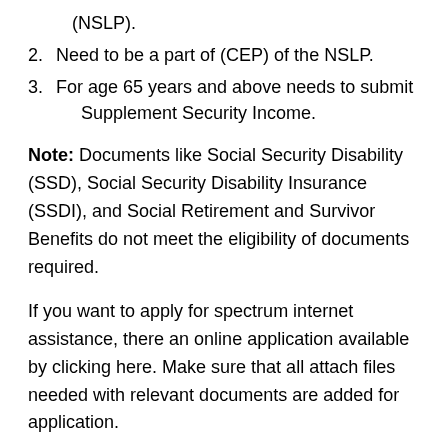(NSLP).
2. Need to be a part of (CEP) of the NSLP.
3. For age 65 years and above needs to submit Supplement Security Income.
Note: Documents like Social Security Disability (SSD), Social Security Disability Insurance (SSDI), and Social Retirement and Survivor Benefits do not meet the eligibility of documents required.
If you want to apply for spectrum internet assistance, there an online application available by clicking here. Make sure that all attach files needed with relevant documents are added for application.